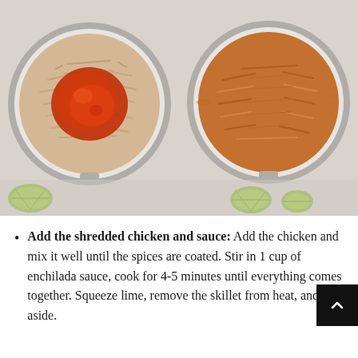[Figure (photo): Two side-by-side photos of a skillet. Left photo shows shredded chicken with red enchilada sauce poured in the center, with lime wedges visible below. Right photo shows the chicken fully mixed with the sauce, uniformly coated in orange-red color, with lime wedges visible below.]
Add the shredded chicken and sauce: Add the chicken and mix it well until the spices are coated. Stir in 1 cup of enchilada sauce, cook for 4-5 minutes until everything comes together. Squeeze lime, remove the skillet from heat, and set aside.